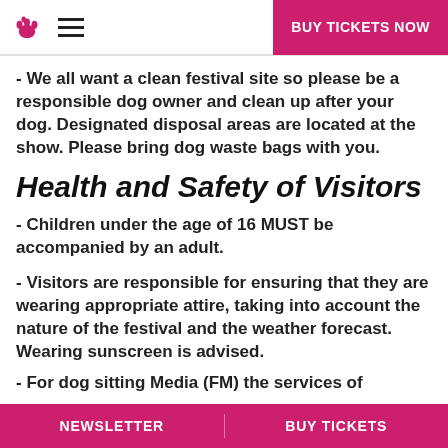BUY TICKETS NOW
- We all want a clean festival site so please be a responsible dog owner and clean up after your dog. Designated disposal areas are located at the show. Please bring dog waste bags with you.
Health and Safety of Visitors
- Children under the age of 16 MUST be accompanied by an adult.
- Visitors are responsible for ensuring that they are wearing appropriate attire, taking into account the nature of the festival and the weather forecast. Wearing sunscreen is advised.
- For dog sitting Media (FM) the services of...
NEWSLETTER   BUY TICKETS